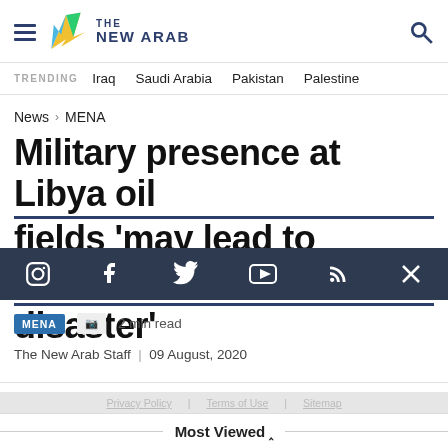THE NEW ARAB
TRENDING  Iraq  Saudi Arabia  Pakistan  Palestine
News > MENA
Military presence at Libya oil fields 'may lead to Beirut-like disaster'
MENA  2 min read
The New Arab Staff  |  09 August, 2020
Most Viewed ^